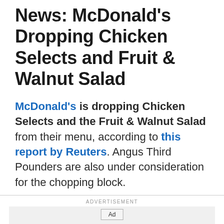News: McDonald's Dropping Chicken Selects and Fruit & Walnut Salad
McDonald's is dropping Chicken Selects and the Fruit & Walnut Salad from their menu, according to this report by Reuters. Angus Third Pounders are also under consideration for the chopping block.
[Figure (other): Advertisement placeholder box with 'Ad' button label]